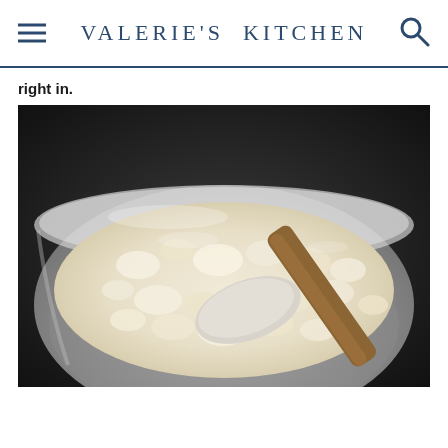VALERIE'S KITCHEN
right in.
[Figure (photo): A stainless steel mixing bowl containing a crumbly flour and butter mixture being stirred with a wooden spoon with a white/grey spatula end. The mixture resembles a coarse, sandy dough typical of biscuit or crumble preparation.]